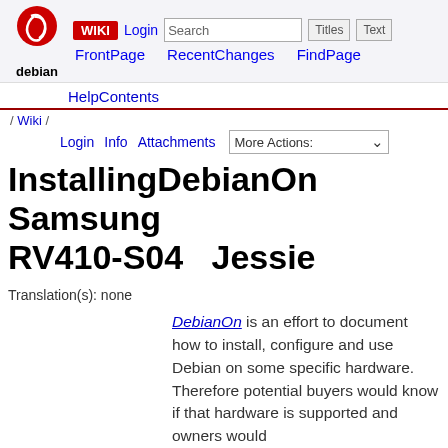WIKI  Login  Search  Titles  Text  FrontPage  RecentChanges  FindPage
HelpContents
/ Wiki /
Login  Info  Attachments  More Actions:
InstallingDebianOn Samsung RV410-S04 Jessie
Translation(s): none
DebianOn is an effort to document how to install, configure and use Debian on some specific hardware. Therefore potential buyers would know if that hardware is supported and owners would